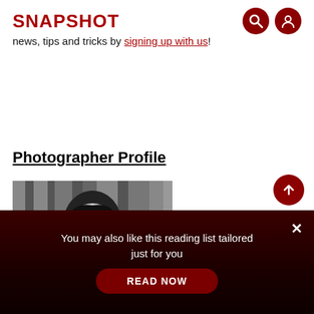SNAPSHOT
news, tips and tricks by signing up with us!
Photographer Profile
[Figure (photo): Black and white portrait photo of an Asian man with glasses and dark hair, wearing a dark shirt, with a draped fabric background]
You may also like this reading list tailored just for you
READ NOW